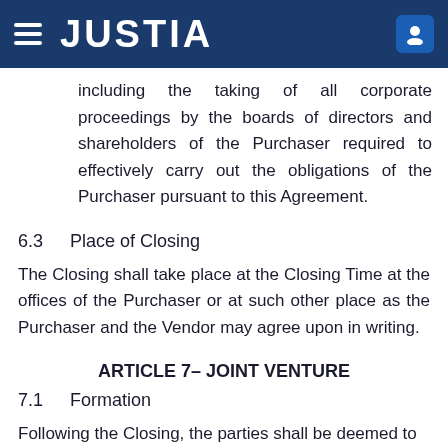JUSTIA
including the taking of all corporate proceedings by the boards of directors and shareholders of the Purchaser required to effectively carry out the obligations of the Purchaser pursuant to this Agreement.
6.3    Place of Closing
The Closing shall take place at the Closing Time at the offices of the Purchaser or at such other place as the Purchaser and the Vendor may agree upon in writing.
ARTICLE 7– JOINT VENTURE
7.1    Formation
Following the Closing, the parties shall be deemed to